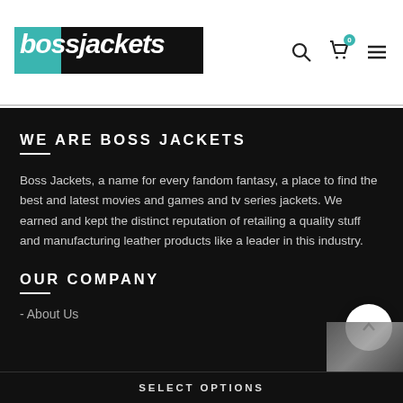[Figure (logo): Boss Jackets logo — teal and black background with white bold italic text]
WE ARE BOSS JACKETS
Boss Jackets, a name for every fandom fantasy, a place to find the best and latest movies and games and tv series jackets. We earned and kept the distinct reputation of retailing a quality stuff and manufacturing leather products like a leader in this industry.
OUR COMPANY
- About Us
SELECT OPTIONS